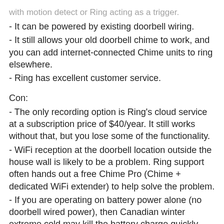with motion detect or Ring acting as a trigger.
- It can be powered by existing doorbell wiring.
- It still allows your old doorbell chime to work, and you can add internet-connected Chime units to ring elsewhere.
- Ring has excellent customer service.
Con:
- The only recording option is Ring's cloud service at a subscription price of $40/year. It still works without that, but you lose some of the functionality.
- WiFi reception at the doorbell location outside the house wall is likely to be a problem. Ring support often hands out a free Chime Pro (Chime + dedicated WiFi extender) to help solve the problem.
- If you are operating on battery power alone (no doorbell wired power), then Canadian winter extreme cold may kill the battery charge quickly.